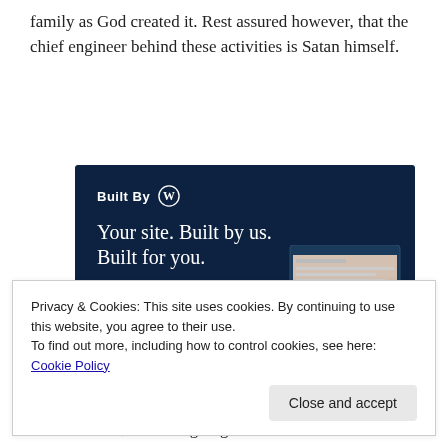family as God created it. Rest assured however, that the chief engineer behind these activities is Satan himself.
[Figure (screenshot): WordPress 'Built By WordPress' advertisement banner with dark navy background. Shows 'Built By [WordPress logo]' header, tagline 'Your site. Built by us. Built for you.', a 'Get a quote now' button, and mockup screenshots of a website with fashion images.]
Privacy & Cookies: This site uses cookies. By continuing to use this website, you agree to their use.
To find out more, including how to control cookies, see here: Cookie Policy
matter of fact, it's been going on since Satan first